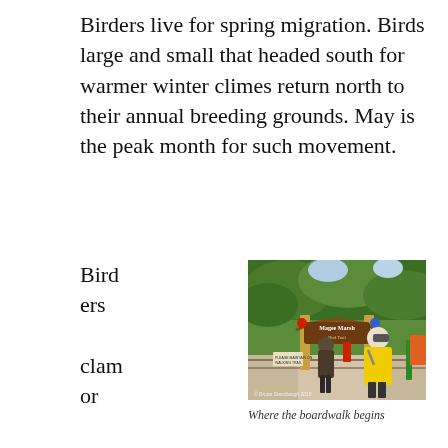Birders live for spring migration. Birds large and small that headed south for warmer winter climes return north to their annual breeding grounds. May is the peak month for such movement.
Birders clamor for any and ever y
[Figure (photo): Two people standing at the entrance to Magee Marsh Bird Trail. A wooden arch sign reads 'Magee Marsh Bird Trail'. One person wears a bright yellow jacket and binoculars. Trees in background. Photo credit: © Bruce Stambaugh 2015]
Where the boardwalk begins